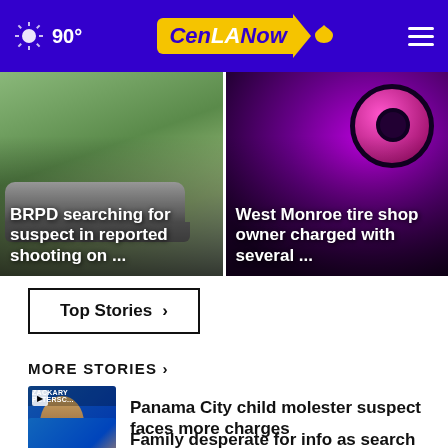90° CenLANow
[Figure (photo): BRPD searching for suspect in reported shooting on ...]
[Figure (photo): West Monroe tire shop owner charged with several ...]
Top Stories ›
MORE STORIES ›
Panama City child molester suspect faces more charges
Family desperate for info as search continues for ...